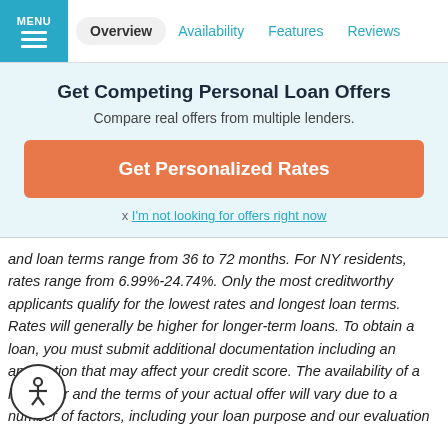MENU | Overview | Availability | Features | Reviews
Get Competing Personal Loan Offers
Compare real offers from multiple lenders.
[Figure (other): Orange CTA button labeled 'Get Personalized Rates']
x I'm not looking for offers right now
and loan terms range from 36 to 72 months. For NY residents, rates range from 6.99%-24.74%. Only the most creditworthy applicants qualify for the lowest rates and longest loan terms. Rates will generally be higher for longer-term loans. To obtain a loan, you must submit additional documentation including an application that may affect your credit score. The availability of a loan offer and the terms of your actual offer will vary due to a number of factors, including your loan purpose and our evaluation of your creditworthiness. Rates will vary based on many factors, such as your creditworthiness (for example, credit score and credit hi... and the length of your loan (for example, rates for 36 month loans are s... lower than rates for 72 month loans). Your maximum loan amount may va... ending on your loan purpose, income and creditworthiness. Your